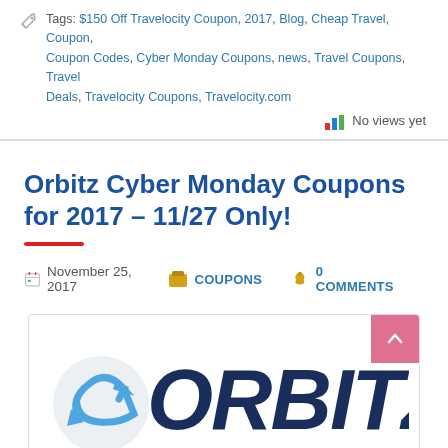Tags: $150 Off Travelocity Coupon, 2017, Blog, Cheap Travel, Coupon, Coupon Codes, Cyber Monday Coupons, news, Travel Coupons, Travel Deals, Travelocity Coupons, Travelocity.com
No views yet
Orbitz Cyber Monday Coupons for 2017 – 11/27 Only!
November 25, 2017   COUPONS   0 COMMENTS
[Figure (logo): Orbitz logo — large dark navy bold italic text 'ORBITZ' with a blue arrow swoosh icon]